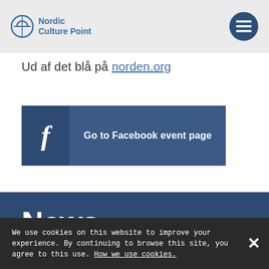Nordic Culture Point
Ud af det blå på norden.org
[Figure (other): Facebook event page button with text 'Go to Facebook event page']
News
We use cookies on this website to improve your experience. By continuing to browse this site, you agree to this use. How we use cookies.